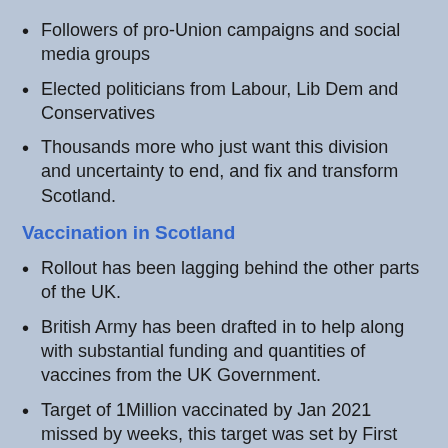Followers of pro-Union campaigns and social media groups
Elected politicians from Labour, Lib Dem and Conservatives
Thousands more who just want this division and uncertainty to end, and fix and transform Scotland.
Vaccination in Scotland
Rollout has been lagging behind the other parts of the UK.
British Army has been drafted in to help along with substantial funding and quantities of vaccines from the UK Government.
Target of 1Million vaccinated by Jan 2021 missed by weeks, this target was set by First Minister and Scottish Health Sec.